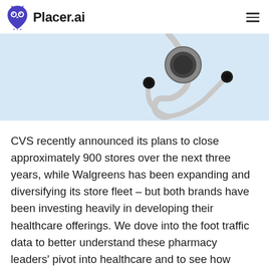Placer.ai
[Figure (photo): Light blue background with a stethoscope in the upper right corner, viewed from above on a flat lay style photo.]
CVS recently announced its plans to close approximately 900 stores over the next three years, while Walgreens has been expanding and diversifying its store fleet – but both brands have been investing heavily in developing their healthcare offerings. We dove into the foot traffic data to better understand these pharmacy leaders' pivot into healthcare and to see how location analytics can